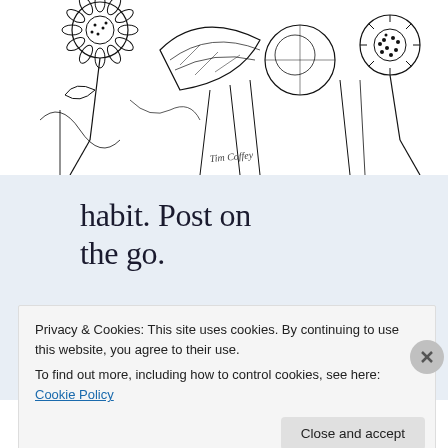[Figure (illustration): Black and white line drawing illustration of flowers and plants, with an artist signature 'Tim Coffey' visible in the lower center area.]
habit. Post on the go.
GET THE APP
Privacy & Cookies: This site uses cookies. By continuing to use this website, you agree to their use.
To find out more, including how to control cookies, see here: Cookie Policy
Close and accept